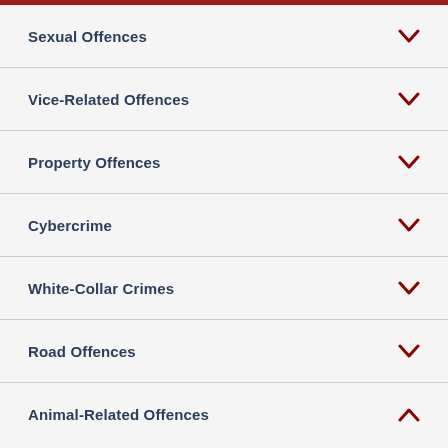Sexual Offences
Vice-Related Offences
Property Offences
Cybercrime
White-Collar Crimes
Road Offences
Animal-Related Offences